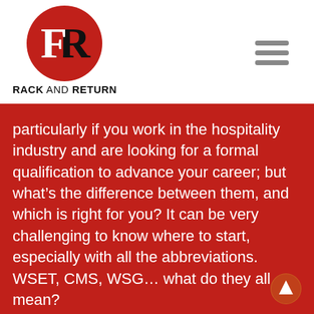[Figure (logo): Rack and Return logo: red circle with black and white FR monogram, with text 'RACK AND RETURN' below]
particularly if you work in the hospitality industry and are looking for a formal qualification to advance your career; but what's the difference between them, and which is right for you? It can be very challenging to know where to start, especially with all the abbreviations. WSET, CMS, WSG… what do they all mean?